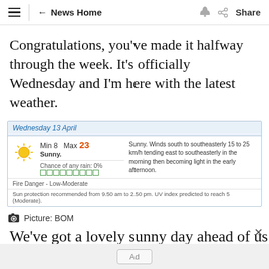≡ ← News Home 🔔 Share
Congratulations, you've made it halfway through the week. It's officially Wednesday and I'm here with the latest weather.
[Figure (infographic): Weather widget showing Wednesday 13 April forecast: Min 8 Max 23, Sunny. Chance of any rain: 0%. Sunny. Winds south to southeasterly 15 to 25 km/h tending east to southeasterly in the morning then becoming light in the early afternoon. Fire Danger - Low-Moderate. Sun protection recommended from 9.50 am to 2.50 pm. UV index predicted to reach 5 (Moderate).]
Picture: BOM
We've got a lovely sunny day ahead of us in